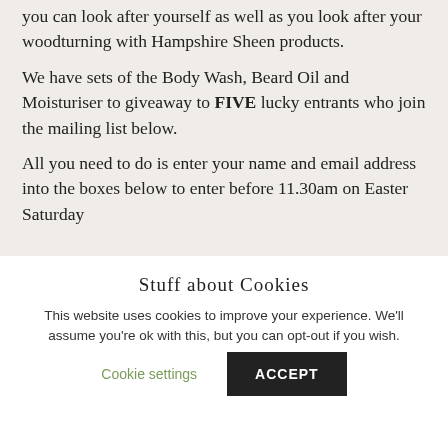you can look after yourself as well as you look after your woodturning with Hampshire Sheen products.
We have sets of the Body Wash, Beard Oil and Moisturiser to giveaway to FIVE lucky entrants who join the mailing list below.
All you need to do is enter your name and email address into the boxes below to enter before 11.30am on Easter Saturday
Stuff about Cookies
This website uses cookies to improve your experience. We'll assume you're ok with this, but you can opt-out if you wish.
Cookie settings
ACCEPT